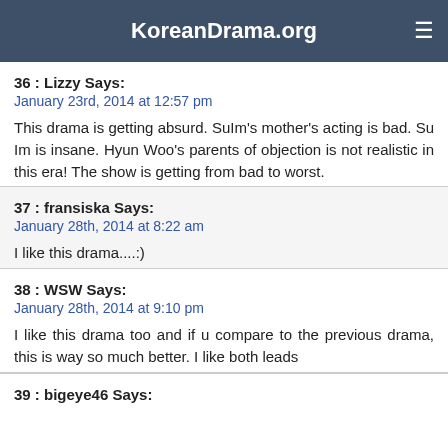KoreanDrama.org
36 : Lizzy Says:
January 23rd, 2014 at 12:57 pm
This drama is getting absurd. SuIm's mother's acting is bad. Su Im is insane. Hyun Woo's parents of objection is not realistic in this era! The show is getting from bad to worst.
37 : fransiska Says:
January 28th, 2014 at 8:22 am
I like this drama....:)
38 : WSW Says:
January 28th, 2014 at 9:10 pm
I like this drama too and if u compare to the previous drama, this is way so much better. I like both leads
39 : bigeye46 Says: